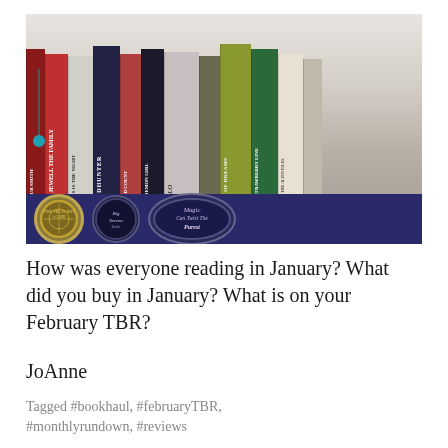[Figure (photo): A bookshelf photo showing multiple books standing upright including titles: Lisa Jewell The Family, Mindhunter, Blood County, The Demon Girl, Ashley, Lair of Dreams, The Strawberry Line, and others. The shelf has a blue tray at the bottom with stickers including one reading 'Magic Can Twist The Purest'. A small teal lamp is visible on the left side.]
How was everyone reading in January? What did you buy in January? What is on your February TBR?
JoAnne
Tagged #bookhaul, #februaryTBR, #monthlyrundown, #reviews